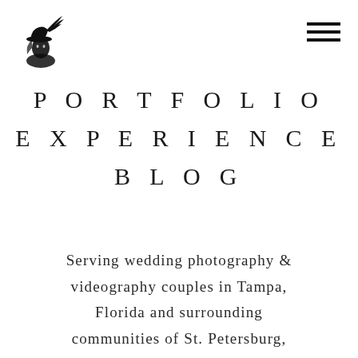[Figure (logo): Stylized illustration of a figure wearing a hat with a feather, in black ink — photographer/videographer logo]
[Figure (other): Hamburger menu icon — three horizontal black lines]
PORTFOLIO
EXPERIENCE
BLOG
Serving wedding photography & videography couples in Tampa, Florida and surrounding communities of St. Petersburg, Clearwater, Sarasota, Bradenton,